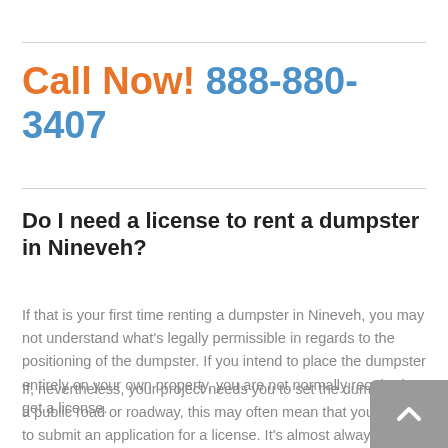Call Now! 888-880-3407
Do I need a license to rent a dumpster in Nineveh?
If that is your first time renting a dumpster in Nineveh, you may not understand what's legally permissible in regards to the positioning of the dumpster. If you intend to place the dumpster entirely on your own property, you are not normally required to get a license.
If, nevertheless, your project needs you to set the dumpster on a public road or roadway, this may often mean that you need to submit an application for a license. It's almost always wise to consult your local city or county offices (perhaps the parking